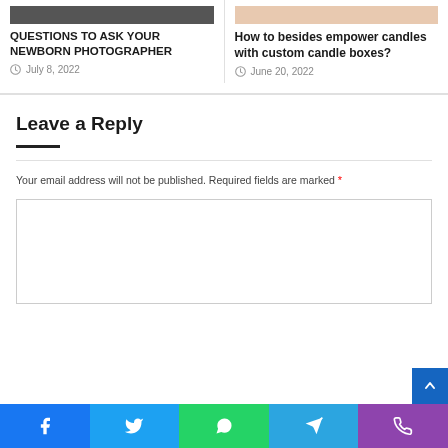QUESTIONS TO ASK YOUR NEWBORN PHOTOGRAPHER
July 8, 2022
How to besides empower candles with custom candle boxes?
June 20, 2022
Leave a Reply
Your email address will not be published. Required fields are marked *